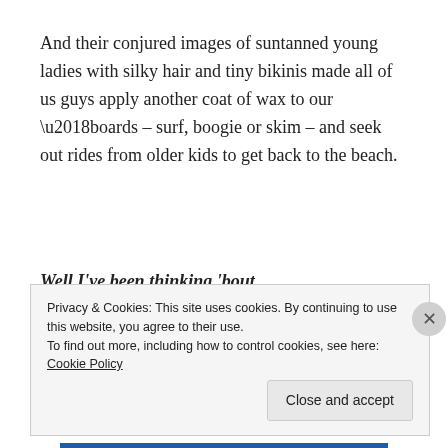And their conjured images of suntanned young ladies with silky hair and tiny bikinis made all of us guys apply another coat of wax to our ‘boards – surf, boogie or skim – and seek out rides from older kids to get back to the beach.
Well I’ve been thinking ‘bout
All the places we’ve surfed and danced and
All the faces we’ve missed so let’s get
Back together and do it again
Privacy & Cookies: This site uses cookies. By continuing to use this website, you agree to their use.
To find out more, including how to control cookies, see here: Cookie Policy